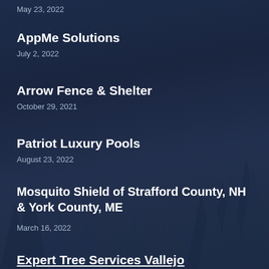May 23, 2022
AppMe Solutions
July 2, 2022
Arrow Fence & Shelter
October 29, 2021
Patriot Luxury Pools
August 23, 2022
Mosquito Shield of Strafford County, NH & York County, ME
March 16, 2022
Expert Tree Services Vallejo